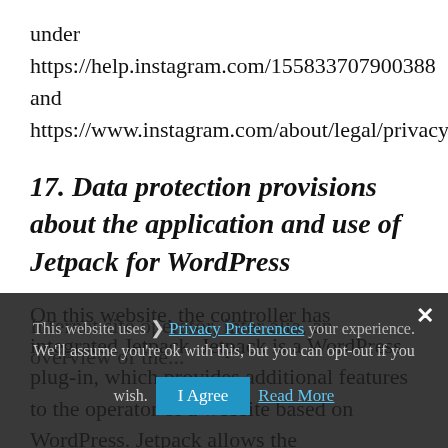under https://help.instagram.com/155833707900388 and https://www.instagram.com/about/legal/privacy/.
17. Data protection provisions about the application and use of Jetpack for WordPress
On this website, the controller has integrated Jetpack. Jetpack is a WordPress plug-in, which provides additional features to the operator of a website based on WordPress. Jetpack allows the Internet site operator, inter alia, an overview of the...
This website uses › Privacy Preferences your experience. We'll assume you're ok with this, but you can opt-out if you wish. [I Agree] Read More